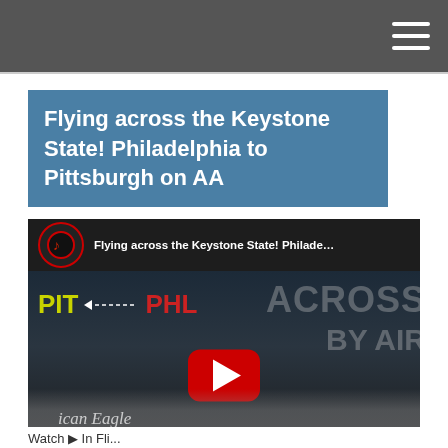Navigation bar with hamburger menu
Flying across the Keystone State! Philadelphia to Pittsburgh on AA
[Figure (screenshot): YouTube video thumbnail showing a flight from Philadelphia (PHL) to Pittsburgh (PIT) on American Airlines. Shows channel logo, video title, route labels with dotted arrow, and YouTube play button. Aircraft with 'American Eagle' text visible at bottom.]